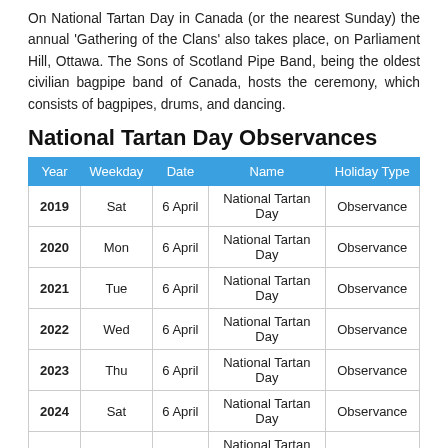On National Tartan Day in Canada (or the nearest Sunday) the annual 'Gathering of the Clans' also takes place, on Parliament Hill, Ottawa. The Sons of Scotland Pipe Band, being the oldest civilian bagpipe band of Canada, hosts the ceremony, which consists of bagpipes, drums, and dancing.
National Tartan Day Observances
| Year | Weekday | Date | Name | Holiday Type |
| --- | --- | --- | --- | --- |
| 2019 | Sat | 6 April | National Tartan Day | Observance |
| 2020 | Mon | 6 April | National Tartan Day | Observance |
| 2021 | Tue | 6 April | National Tartan Day | Observance |
| 2022 | Wed | 6 April | National Tartan Day | Observance |
| 2023 | Thu | 6 April | National Tartan Day | Observance |
| 2024 | Sat | 6 April | National Tartan Day | Observance |
| 2025 | Sun | 6 April | National Tartan Day | Observance |
FAQs
1. Does Canada have a tartan?
Yes, the Maple Leaf Tartan is the national tartan of Canada